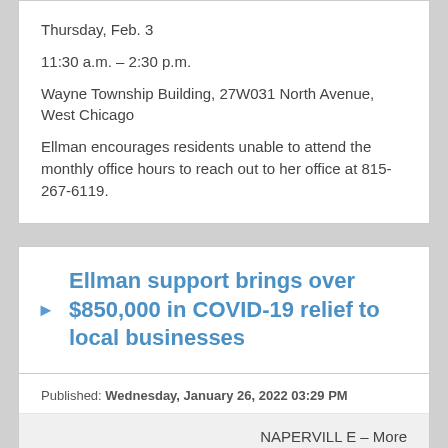Thursday, Feb. 3
11:30 a.m. – 2:30 p.m.
Wayne Township Building, 27W031 North Avenue, West Chicago
Ellman encourages residents unable to attend the monthly office hours to reach out to her office at 815-267-6119.
Ellman support brings over $850,000 in COVID-19 relief to local businesses
Published: Wednesday, January 26, 2022 03:29 PM
NAPERVILLE – More than 20 small businesses